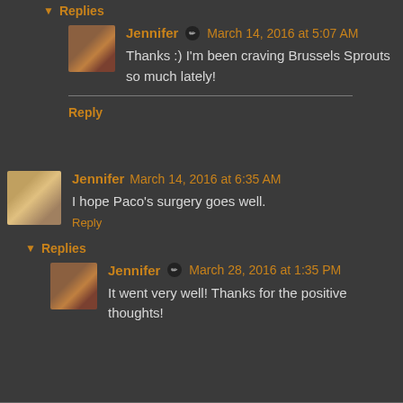▼ Replies
Jennifer ✏ March 14, 2016 at 5:07 AM
Thanks :) I'm been craving Brussels Sprouts so much lately!
Reply
Jennifer March 14, 2016 at 6:35 AM
I hope Paco's surgery goes well.
Reply
▼ Replies
Jennifer ✏ March 28, 2016 at 1:35 PM
It went very well! Thanks for the positive thoughts!